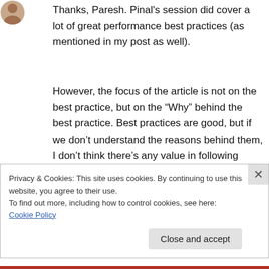[Figure (photo): Small circular avatar photo of a person, partially visible at top-left corner]
Thanks, Paresh. Pinal's session did cover a lot of great performance best practices (as mentioned in my post as well).
However, the focus of the article is not on the best practice, but on the “Why” behind the best practice. Best practices are good, but if we don’t understand the reasons behind them, I don’t think there’s any value in following them – they might end up doing more damage than good.
Privacy & Cookies: This site uses cookies. By continuing to use this website, you agree to their use.
To find out more, including how to control cookies, see here: Cookie Policy